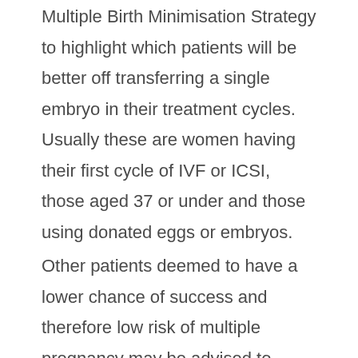Multiple Birth Minimisation Strategy to highlight which patients will be better off transferring a single embryo in their treatment cycles.  Usually these are women having their first cycle of IVF or ICSI, those aged 37 or under and those using donated eggs or embryos.
Other patients deemed to have a lower chance of success and therefore low risk of multiple pregnancy may be advised to transfer two embryos, to increase the chance of them having one healthy baby from the treatment cycle.  These may be women